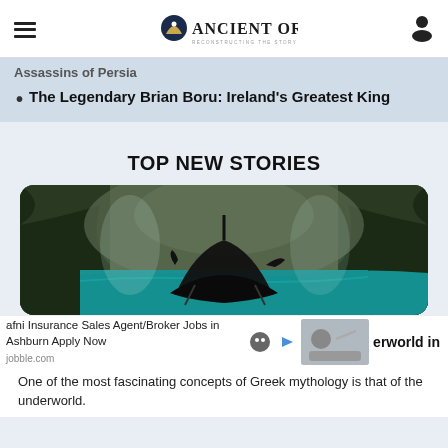Ancient Origins — Reconstructing the Story of Humanity's Past
Assassins of Persia
The Legendary Brian Boru: Ireland's Greatest King
TOP NEW STORIES
[Figure (photo): Dark dramatic image of a Viking longship sailing through stormy waters with forest cliffs on either side]
afni Insurance Sales Agent/Broker Jobs in Ashburn Apply Now jobble.com
erworld in
One of the most fascinating concepts of Greek mythology is that of the underworld.